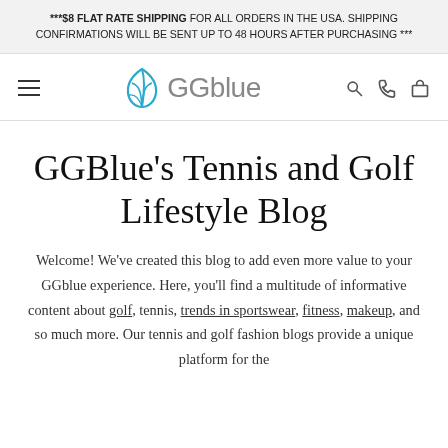***$8 FLAT RATE SHIPPING FOR ALL ORDERS IN THE USA. SHIPPING CONFIRMATIONS WILL BE SENT UP TO 48 HOURS AFTER PURCHASING ***
[Figure (logo): GGblue logo with blue leaf/wave icon and grey text]
GGBlue's Tennis and Golf Lifestyle Blog
Welcome! We've created this blog to add even more value to your GGblue experience. Here, you'll find a multitude of informative content about golf, tennis, trends in sportswear, fitness, makeup, and so much more. Our tennis and golf fashion blogs provide a unique platform for the